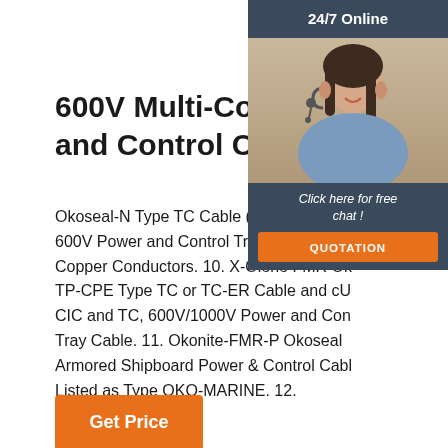600V Multi-Conductor Power and Control Cables, UL
Okoseal-N Type TC Cable (THHN/THWN-600V Power and Control Tray Cable, Multi Copper Conductors. 10. X-Olene FMR Ok TP-CPE Type TC or TC-ER Cable and cU CIC and TC, 600V/1000V Power and Con Tray Cable. 11. Okonite-FMR-P Okoseal Armored Shipboard Power & Control Cabl Listed as Type OKO-MARINE. 12.
[Figure (other): Chat widget overlay showing 24/7 Online support with a woman wearing a headset, a 'Click here for free chat!' message, and a QUOTATION button]
Get Price